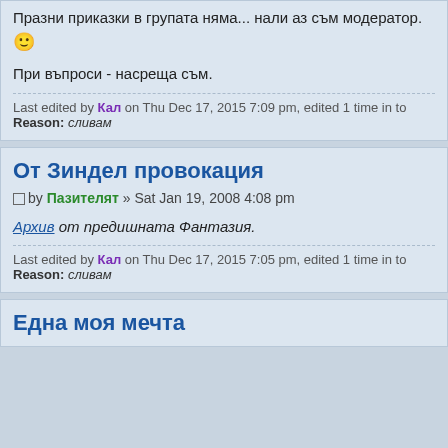Празни приказки в групата няма... нали аз съм модератор. 🙂
При въпроси - насреща съм.
Last edited by Кал on Thu Dec 17, 2015 7:09 pm, edited 1 time in total Reason: сливам
От Зиндел провокация
□ by Пазителят » Sat Jan 19, 2008 4:08 pm
Архив от предишната Фантазия.
Last edited by Кал on Thu Dec 17, 2015 7:05 pm, edited 1 time in total Reason: сливам
Една моя мечта